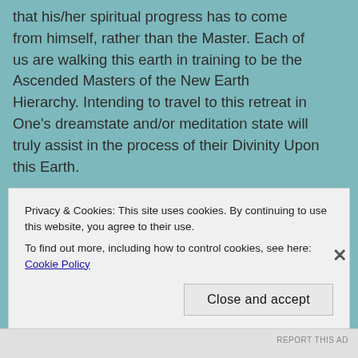that his/her spiritual progress has to come from himself, rather than the Master. Each of us are walking this earth in training to be the Ascended Masters of the New Earth Hierarchy. Intending to travel to this retreat in One's dreamstate and/or meditation state will truly assist in the process of their Divinity Upon this Earth.

The doorway opens each year on December 15th at 12:01 AM (your timezone) and ends on January 14th 11:59 PM.  This occurs two times per year.  The other entryway into the Teton Retreat occurs on June 15th
Privacy & Cookies: This site uses cookies. By continuing to use this website, you agree to their use.
To find out more, including how to control cookies, see here: Cookie Policy
Close and accept